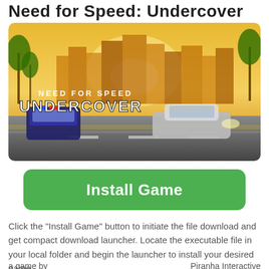Need for Speed: Undercover
[Figure (photo): Need for Speed Undercover game promotional image showing police cars and a sports car racing through a city at high speed, with the game logo 'NEED FOR SPEED UNDERCOVER' displayed prominently on a warm orange/yellow backdrop with palm trees and city skyline.]
Install Game
Click the "Install Game" button to initiate the file download and get compact download launcher. Locate the executable file in your local folder and begin the launcher to install your desired game.
a game by   Piranha Interactive